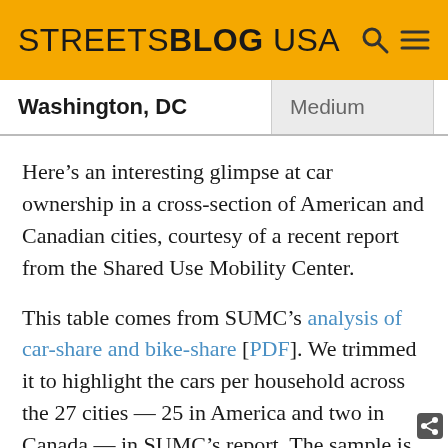STREETSBLOG USA
| City | Size | Score |
| --- | --- | --- |
| Washington, DC | Medium | 0.87 |
Here’s an interesting glimpse at car ownership in a cross-section of American and Canadian cities, courtesy of a recent report from the Shared Use Mobility Center.
This table comes from SUMC’s analysis of car-share and bike-share [PDF]. We trimmed it to highlight the cars per household across the 27 cities — 25 in America and two in Canada — in SUMC’s report. The sample is meant to include different types and sizes of cities — it’s not a list of the biggest cities. And the data comes from core cities, not entire regions with